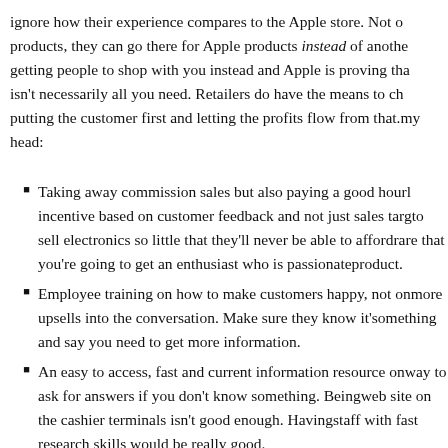ignore how their experience compares to the Apple store. Not of products, they can go there for Apple products instead of anothe getting people to shop with you instead and Apple is proving tha isn't necessarily all you need. Retailers do have the means to ch putting the customer first and letting the profits flow from that. my head:
Taking away commission sales but also paying a good hourl incentive based on customer feedback and not just sales targ to sell electronics so little that they'll never be able to afford rare that you're going to get an enthusiast who is passionate product.
Employee training on how to make customers happy, not on more upsells into the conversation. Make sure they know it's something and say you need to get more information.
An easy to access, fast and current information resource on way to ask for answers if you don't know something. Being web site on the cashier terminals isn't good enough. Having staff with fast research skills would be really good.